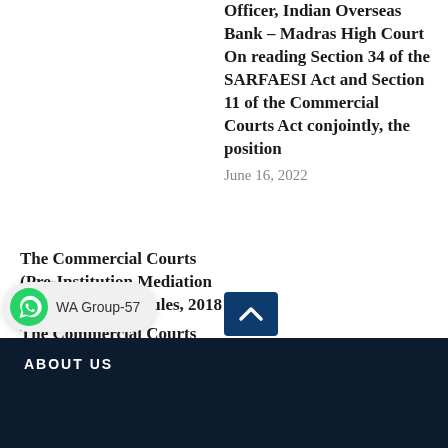Officer, Indian Overseas Bank – Madras High Court On reading Section 34 of the SARFAESI Act and Section 11 of the Commercial Courts Act conjointly, the position
June 16, 2022
The Commercial Courts (Pre-Institution Mediation and Settlement) Rules, 2018 The Commercial Courts (Pre-Institution Mediation and Settlement) Rules, 2018 MINISTRY OF LAW AND
January 1, 2016
ABOUT US